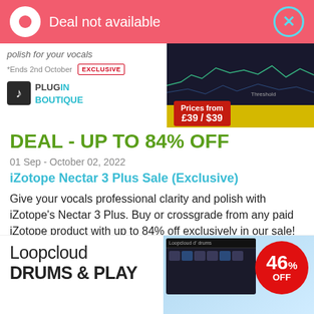Deal not available
[Figure (screenshot): Plugin Boutique ad banner showing iZotope Nectar vocal plugin with 'Prices from £39 / $39' badge, *Ends 2nd October, EXCLUSIVE label, and Plugin Boutique logo]
DEAL - UP TO 84% OFF
01 Sep - October 02, 2022
iZotope Nectar 3 Plus Sale (Exclusive)
Give your vocals professional clarity and polish with iZotope's Nectar 3 Plus. Buy or crossgrade from any paid iZotope product with up to 84% off exclusively in our sale!
[Figure (screenshot): Loopcloud Drums & Play advertisement banner with 46% OFF badge and Loopcloud drums interface screenshot]